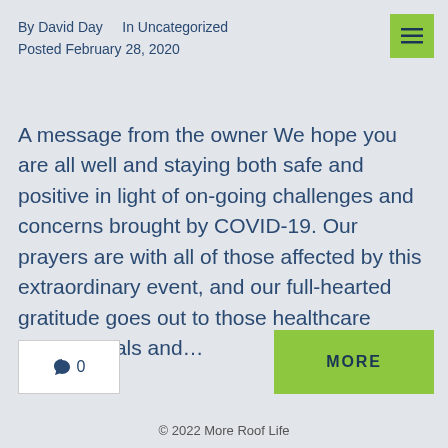By David Day    In Uncategorized
Posted February 28, 2020
A message from the owner We hope you are all well and staying both safe and positive in light of on-going challenges and concerns brought by COVID-19. Our prayers are with all of those affected by this extraordinary event, and our full-hearted gratitude goes out to those healthcare professionals and...
© 2022 More Roof Life